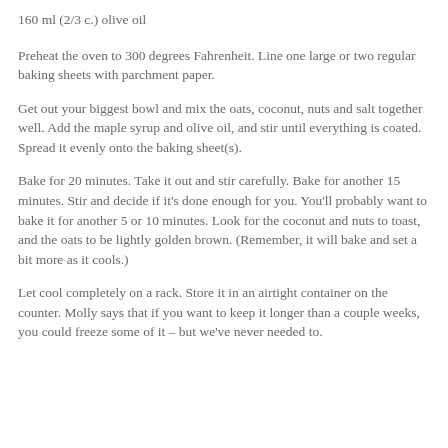160 ml (2/3 c.) olive oil
Preheat the oven to 300 degrees Fahrenheit. Line one large or two regular baking sheets with parchment paper.
Get out your biggest bowl and mix the oats, coconut, nuts and salt together well. Add the maple syrup and olive oil, and stir until everything is coated. Spread it evenly onto the baking sheet(s).
Bake for 20 minutes. Take it out and stir carefully. Bake for another 15 minutes. Stir and decide if it's done enough for you. You'll probably want to bake it for another 5 or 10 minutes. Look for the coconut and nuts to toast, and the oats to be lightly golden brown. (Remember, it will bake and set a bit more as it cools.)
Let cool completely on a rack. Store it in an airtight container on the counter. Molly says that if you want to keep it longer than a couple weeks, you could freeze some of it – but we've never needed to.